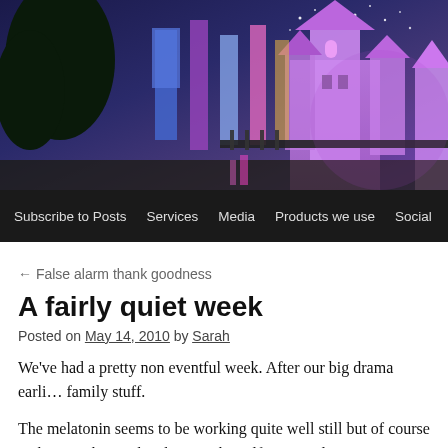[Figure (photo): Header image showing a Disney-style castle at night with purple and blue lighting, colorful banners/flags, trees, and stars in the sky]
Subscribe to Posts   Services   Media   Products we use   Social
← False alarm thank goodness
A fairly quiet week
Posted on May 14, 2010 by Sarah
We've had a pretty non eventful week. After our big drama earli… family stuff.
The melatonin seems to be working quite well still but of course make sure that Beth is keeping herself quiet and trying to wake…